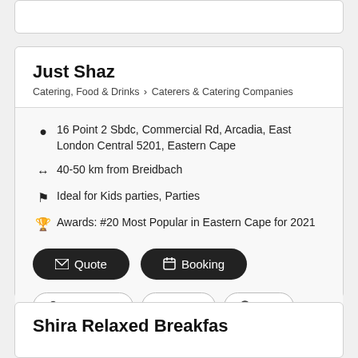Just Shaz
Catering, Food & Drinks > Caterers & Catering Companies
16 Point 2 Sbdc, Commercial Rd, Arcadia, East London Central 5201, Eastern Cape
40-50 km from Breidbach
Ideal for Kids parties, Parties
Awards: #20 Most Popular in Eastern Cape for 2021
Quote
Booking
Contact me
Email
www
Shira Relaxed Breakfas...